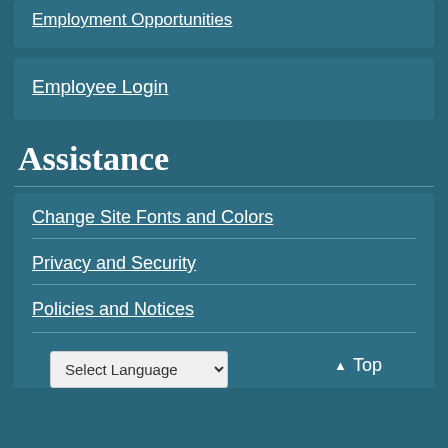Employment Opportunities
Employee Login
Assistance
Change Site Fonts and Colors
Privacy and Security
Policies and Notices